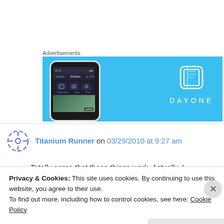Advertisements
[Figure (screenshot): DayOne app advertisement banner with light blue background showing a smartphone screenshot of the DayOne journaling app interface on the left and the DayOne logo (book icon) with 'DAYONE' text on the right]
Titanium Runner on 03/29/2010 at 9:27 am
Totally agree that those things work. Actually, I
Privacy & Cookies: This site uses cookies. By continuing to use this website, you agree to their use.
To find out more, including how to control cookies, see here: Cookie Policy
Close and accept